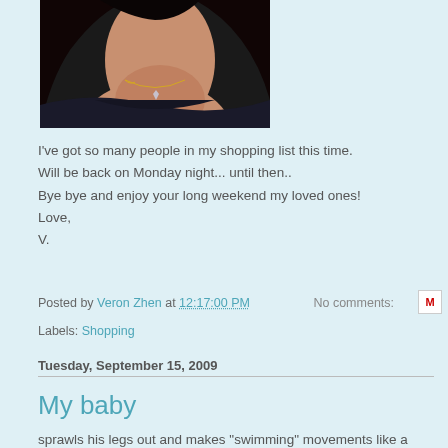[Figure (photo): Lower face and neck of a woman with dark hair wearing a necklace and dark top]
I've got so many people in my shopping list this time.
Will be back on Monday night... until then..
Bye bye and enjoy your long weekend my loved ones!
Love,
V.
Posted by Veron Zhen at 12:17:00 PM   No comments:
Labels: Shopping
Tuesday, September 15, 2009
My baby
sprawls his legs out and makes "swimming" movements like a turtle. He